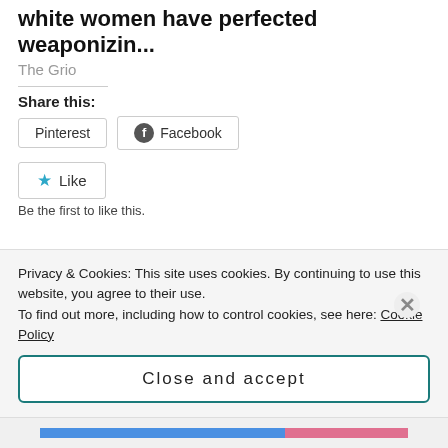white women have perfected weaponizin...
The Grio
Share this:
Pinterest   Facebook
Like
Be the first to like this.
Related
Orange Marmalade
February 29, 2012
Citrus, Avocado and Radish Salad
Privacy & Cookies: This site uses cookies. By continuing to use this website, you agree to their use.
To find out more, including how to control cookies, see here: Cookie Policy
Close and accept